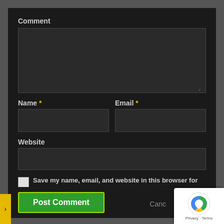Comment
[Figure (screenshot): Empty comment textarea input box]
Name *
Email *
[Figure (screenshot): Name input field]
[Figure (screenshot): Email input field]
Website
[Figure (screenshot): Website input field]
[Figure (screenshot): Checkbox for save my name]
Save my name, email, and website in this browser for the next time I comment.
[Figure (screenshot): Post Comment button (green with yellow border)]
Cancel
[Figure (screenshot): reCAPTCHA badge with Privacy and Terms links]